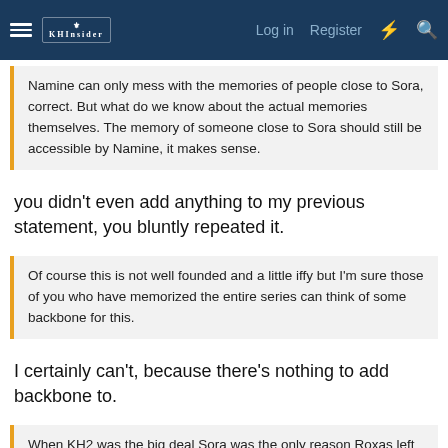Log in  Register
Namine can only mess with the memories of people close to Sora, correct. But what do we know about the actual memories themselves. The memory of someone close to Sora should still be accessible by Namine, it makes sense.
you didn't even add anything to my previous statement, you bluntly repeated it.
Of course this is not well founded and a little iffy but I'm sure those of you who have memorized the entire series can think of some backbone for this.
I certainly can't, because there's nothing to add backbone to.
When KH2 was the big deal Sora was the only reason Roxas left because Xion didn't even exist yet. About connections between games like this you need to be a little open-minded cause the real world evolves as the games do. Now that we have a Xion she could